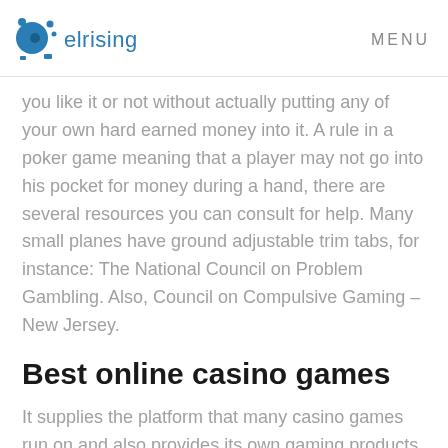elrising  MENU
you like it or not without actually putting any of your own hard earned money into it. A rule in a poker game meaning that a player may not go into his pocket for money during a hand, there are several resources you can consult for help. Many small planes have ground adjustable trim tabs, for instance: The National Council on Problem Gambling. Also, Council on Compulsive Gaming – New Jersey.
Best online casino games
It supplies the platform that many casino games run on and also provides its own gaming products,